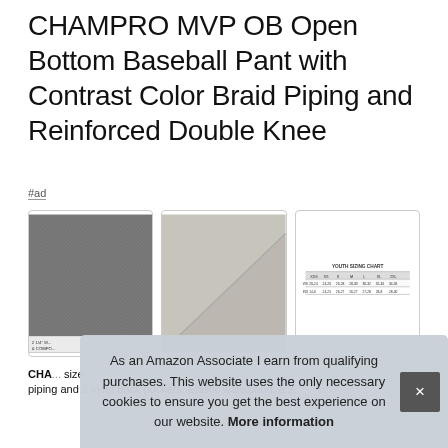CHAMPRO MVP OB Open Bottom Baseball Pant with Contrast Color Braid Piping and Reinforced Double Knee
#ad
[Figure (photo): Close-up of grey fabric texture with stitching, label reading '2 1/4 W... & COMPO...']
[Figure (photo): Close-up of light grey/white fabric folded showing seam]
[Figure (table-as-image): Youth sizing chart table showing sizes XXS, XS, S, M, L, XL, 2XL with waist and inseam measurements]
CHAMPRO ... size ... piping and 2 inset back pockets. Elastic waistband; a 2.
As an Amazon Associate I earn from qualifying purchases. This website uses the only necessary cookies to ensure you get the best experience on our website. More information